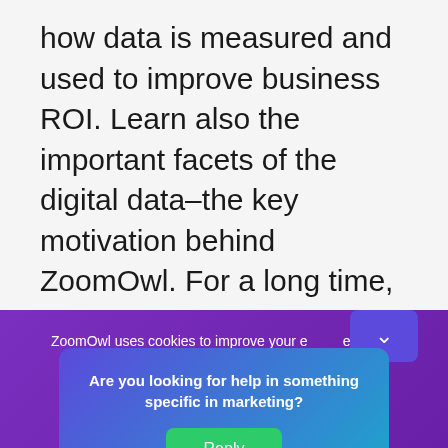how data is measured and used to improve business ROI. Learn also the important facets of the digital data–the key motivation behind ZoomOwl. For a long time, I was planning to create a blog on digital analytics. Data has always been to my…
ZoomOwl uses cookies to improve your e▾ence. By
Are you looking for help in something specific in marketing?
Reply